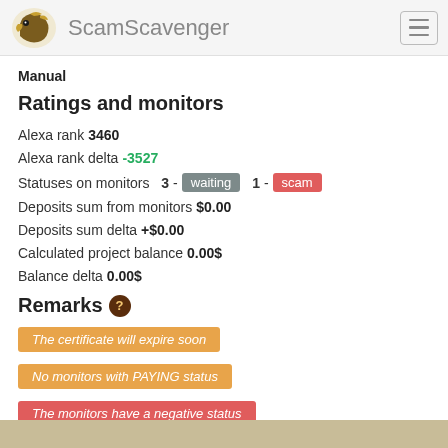ScamScavenger
Manual
Ratings and monitors
Alexa rank 3460
Alexa rank delta -3527
Statuses on monitors  3 - waiting  1 - scam
Deposits sum from monitors $0.00
Deposits sum delta +$0.00
Calculated project balance 0.00$
Balance delta 0.00$
Remarks
The certificate will expire soon
No monitors with PAYING status
The monitors have a negative status